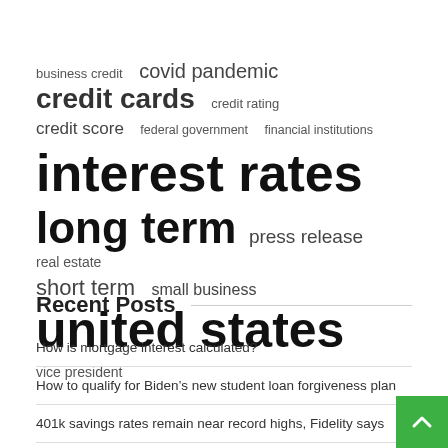[Figure (other): Tag cloud with finance-related keywords in varying font sizes: business credit, covid pandemic, credit cards, credit rating, credit score, federal government, financial institutions, interest rates, long term, press release, real estate, short term, small business, united states, vice president]
Recent Posts
How is mortgage interest calculated?
How to qualify for Biden’s new student loan forgiveness plan
401k savings rates remain near record highs, Fidelity says
Michael had the ‘perfect’ business run by Facebook, but it’s now under siege